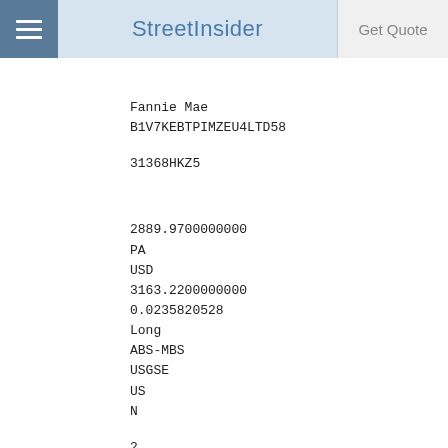StreetInsider
Fannie Mae
B1V7KEBTPIMZEU4LTD58
31368HKZ5
2889.9700000000
PA
USD
3163.2200000000
0.0235820528
Long
ABS-MBS
USGSE
US
N
2
2031-04-01